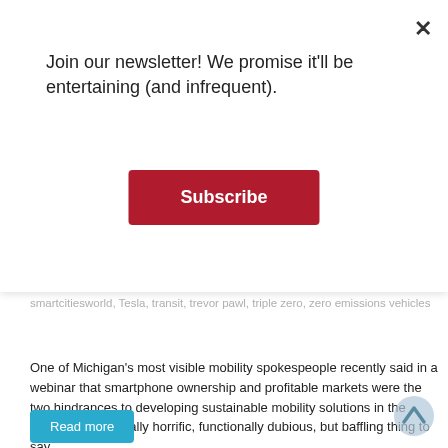Join our newsletter! We promise it'll be entertaining (and infrequent).
Subscribe
smartcitiesworld, Tesla, transit, trevor pawl, triple zero, zero emissions vehicles
One of Michigan's most visible mobility spokespeople recently said in a webinar that smartphone ownership and profitable markets were the two hindrances to developing sustainable mobility solutions in the state. It's a politically horrific, functionally dubious, but baffling thing to say.
Read more